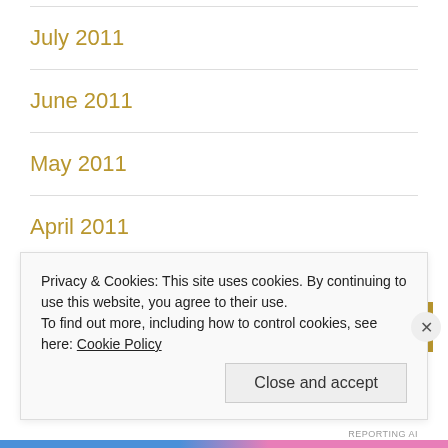July 2011
June 2011
May 2011
April 2011
Privacy & Cookies: This site uses cookies. By continuing to use this website, you agree to their use.
To find out more, including how to control cookies, see here: Cookie Policy
Close and accept